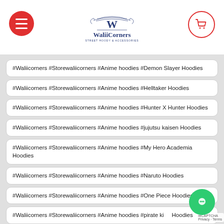WaliiCorners
#Waliicorners #Storewaliicorners #Anime hoodies #Demon Slayer Hoodies
#Waliicorners #Storewaliicorners #Anime hoodies #Helltaker Hoodies
#Waliicorners #Storewaliicorners #Anime hoodies #Hunter X Hunter Hoodies
#Waliicorners #Storewaliicorners #Anime hoodies #jujutsu kaisen Hoodies
#Waliicorners #Storewaliicorners #Anime hoodies #My Hero Academia Hoodies
#Waliicorners #Storewaliicorners #Anime hoodies #Naruto Hoodies
#Waliicorners #Storewaliicorners #Anime hoodies #One Piece Hoodies
#Waliicorners #Storewaliicorners #Anime hoodies #pirate king Hoodies
#Waliicorners #Storewaliicorners #Anime hoodies #sweatshirts